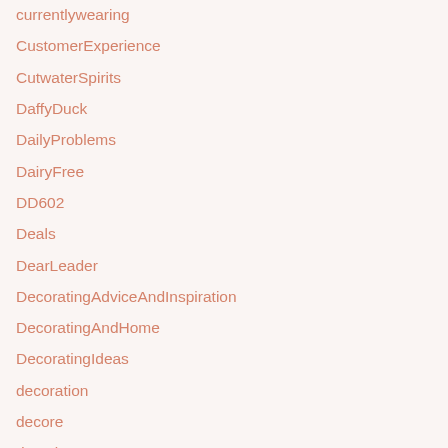currentlywearing
CustomerExperience
CutwaterSpirits
DaffyDuck
DailyProblems
DairyFree
DD602
Deals
DearLeader
DecoratingAdviceAndInspiration
DecoratingAndHome
DecoratingIdeas
decoration
decore
decorinspo